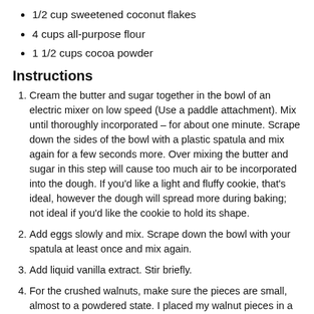1/2 cup sweetened coconut flakes
4 cups all-purpose flour
1 1/2 cups cocoa powder
Instructions
Cream the butter and sugar together in the bowl of an electric mixer on low speed (Use a paddle attachment). Mix until thoroughly incorporated – for about one minute. Scrape down the sides of the bowl with a plastic spatula and mix again for a few seconds more. Over mixing the butter and sugar in this step will cause too much air to be incorporated into the dough. If you'd like a light and fluffy cookie, that's ideal, however the dough will spread more during baking; not ideal if you'd like the cookie to hold its shape.
Add eggs slowly and mix. Scrape down the bowl with your spatula at least once and mix again.
Add liquid vanilla extract. Stir briefly.
For the crushed walnuts, make sure the pieces are small, almost to a powdered state. I placed my walnut pieces in a ziplock bag, wrapped the bag with a kitchen towel and used